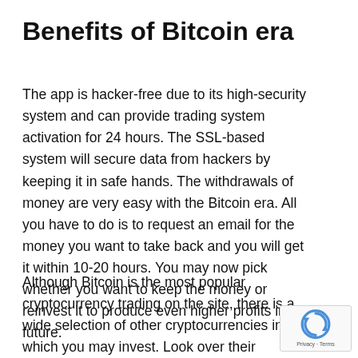Benefits of Bitcoin era
The app is hacker-free due to its high-security system and can provide trading system activation for 24 hours. The SSL-based system will secure data from hackers by keeping it in safe hands. The withdrawals of money are very easy with the Bitcoin era. All you have to do is to request an email for the money you want to take back and you will get it within 10-20 hours. You may now pick whether you want to keep the money or reinvest it to produce even higher profits in the future.
Although Bitcoin is the most popular cryptocurrency trading on the site, there is a wide selection of other cryptocurrencies in which you may invest. Look over their…
[Figure (other): Google reCAPTCHA badge with Privacy - Terms label]